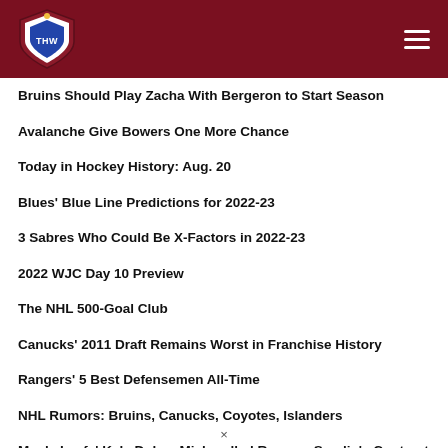THW - The Hockey Writers
Bruins Should Play Zacha With Bergeron to Start Season
Avalanche Give Bowers One More Chance
Today in Hockey History: Aug. 20
Blues' Blue Line Predictions for 2022-23
3 Sabres Who Could Be X-Factors in 2022-23
2022 WJC Day 10 Preview
The NHL 500-Goal Club
Canucks' 2011 Draft Remains Worst in Franchise History
Rangers' 5 Best Defensemen All-Time
NHL Rumors: Bruins, Canucks, Coyotes, Islanders
Maple Leafs' Kyle Dubas Mishandled Rasmus Sandin's Contract
2021-22 Kraken Report Cards: McCann, Tanev & Beniers
3 Blues Hot Takes for the 2022-23 Season
×